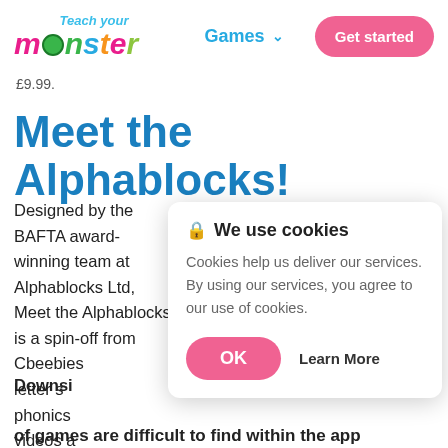Teach your monster — Games ∨  Get started
£9.99.
Meet the Alphablocks!
Designed by the BAFTA award-winning team at Alphablocks Ltd, Meet the Alphablocks is a spin-off from Cbeebies letter sounds phonics videos and downlo
Downsi
of games are difficult to find within the app
[Figure (screenshot): Cookie consent popup overlay with lock icon, title 'We use cookies', body text 'Cookies help us deliver our services. By using our services, you agree to our use of cookies.', OK button (pink), and Learn More link]